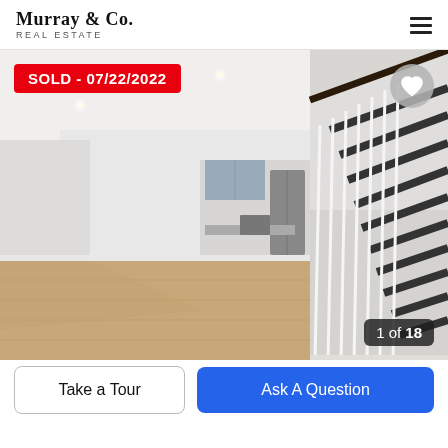Murray & Co. Real Estate
[Figure (photo): Interior photo of a renovated townhouse showing an open living room with hardwood floors, white walls, recessed lighting, a modern staircase with white balusters and dark handrail on the right, and a kitchen visible in the background with stainless steel appliances. Badge reads SOLD - 07/22/2022. Photo counter shows 1 of 18.]
Take a Tour
Ask A Question